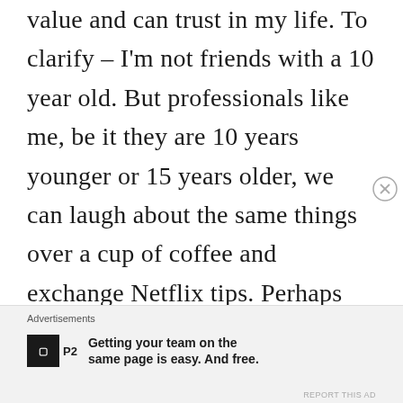value and can trust in my life. To clarify – I'm not friends with a 10 year old. But professionals like me, be it they are 10 years younger or 15 years older, we can laugh about the same things over a cup of coffee and exchange Netflix tips. Perhaps you are giving up a great friendship to some limiting belief you have. Ask yourself how you define a friend, and have a look at the people around you.
Advertisements
Getting your team on the same page is easy. And free.